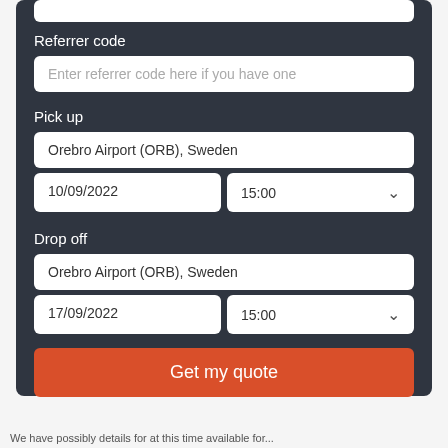Referrer code
Enter referrer code here if you have one
Pick up
Orebro Airport (ORB), Sweden
10/09/2022
15:00
Drop off
Orebro Airport (ORB), Sweden
17/09/2022
15:00
Get my quote
We have possibly details for at this time available for...